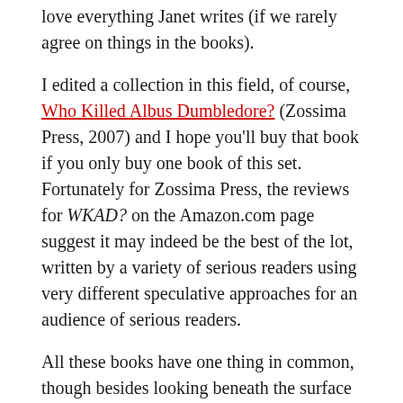love everything Janet writes (if we rarely agree on things in the books).
I edited a collection in this field, of course, Who Killed Albus Dumbledore? (Zossima Press, 2007) and I hope you'll buy that book if you only buy one book of this set. Fortunately for Zossima Press, the reviews for WKAD? on the Amazon.com page suggest it may indeed be the best of the lot, written by a variety of serious readers using very different speculative approaches for an audience of serious readers.
All these books have one thing in common, though besides looking beneath the surface of Half-Blood Prince to try to figure out what will happen in Deathly Hallows. What they all share is a future that is a dead-end. They will all be collector's items and curiousities on July 22nd.
Who but PhD candidates in English, obsessive fans and